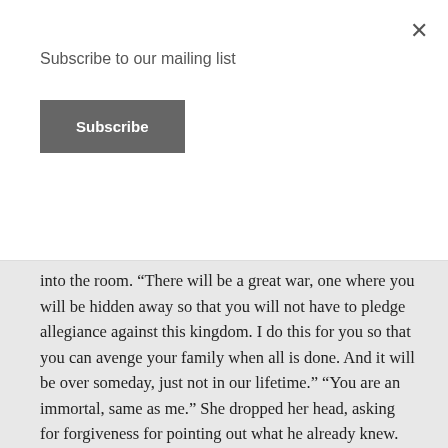Subscribe to our mailing list
Subscribe
into the room. “There will be a great war, one where you will be hidden away so that you will not have to pledge allegiance against this kingdom. I do this for you so that you can avenge your family when all is done. And it will be over someday, just not in our lifetime.” “You are an immortal, same as me.” She dropped her head, asking for forgiveness for pointing out what he already knew. Anthony walked to her then and lifted her face up to his. She was tall, and he could see the fear there in her eyes. “You cannot die, my lord king. I will fight with you.”
“‘Tis too late for that, I fear.” She watched his face